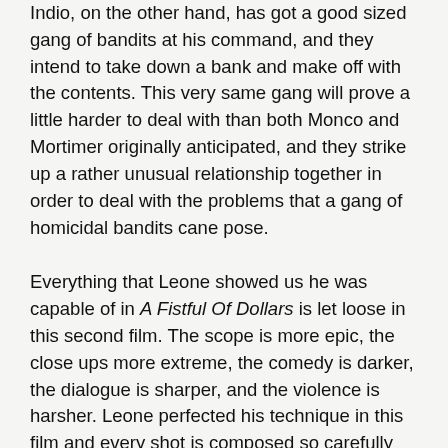Indio, on the other hand, has got a good sized gang of bandits at his command, and they intend to take down a bank and make off with the contents. This very same gang will prove a little harder to deal with than both Monco and Mortimer originally anticipated, and they strike up a rather unusual relationship together in order to deal with the problems that a gang of homicidal bandits cane pose.
Everything that Leone showed us he was capable of in A Fistful Of Dollars is let loose in this second film. The scope is more epic, the close ups more extreme, the comedy is darker, the dialogue is sharper, and the violence is harsher. Leone perfected his technique in this film and every shot is composed so carefully and with such technical precision that even if there were no audio track to provide dialogue effects or background music, the film would still be a masterpiece simply on the strength of the visuals alone. Thankfully, however, the audio mix is just as strong as the look of the film. Morricone had really hit his stride by this point in his career and his score strengthens